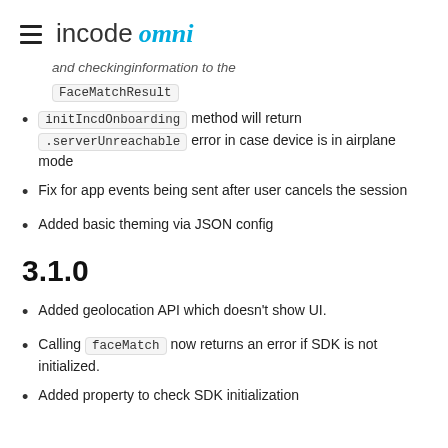incode omni
and checkinginformation to the FaceMatchResult
initIncdOnboarding method will return .serverUnreachable error in case device is in airplane mode
Fix for app events being sent after user cancels the session
Added basic theming via JSON config
3.1.0
Added geolocation API which doesn't show UI.
Calling faceMatch now returns an error if SDK is not initialized.
Added property to check SDK initialization